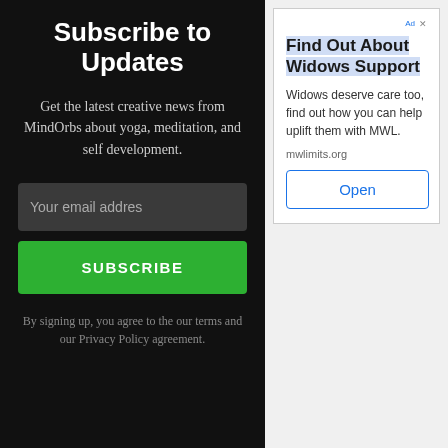Subscribe to Updates
Get the latest creative news from MindOrbs about yoga, meditation, and self development.
[Figure (other): Email input field with placeholder text 'Your email addres']
[Figure (other): Green subscribe button with text 'SUBSCRIBE']
By signing up, you agree to the our terms and our Privacy Policy agreement.
Find Out About Widows Support
Widows deserve care too, find out how you can help uplift them with MWL.
mwlimits.org
[Figure (other): Open button in ad box]